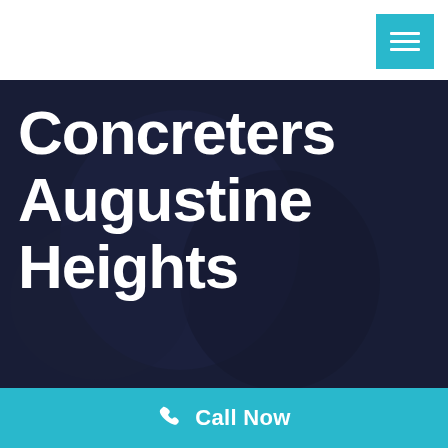[Figure (other): Menu/hamburger icon button in teal/cyan color in the top right corner]
[Figure (photo): Dark overlay hero image showing construction/concrete work, dark navy blue toned background]
Concreters Augustine Heights
Call Now